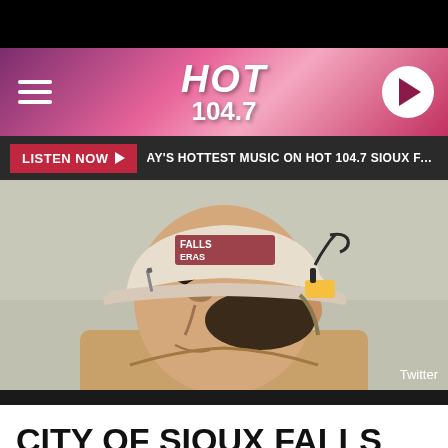[Figure (screenshot): HOT 104.7 radio station mobile website header with pink/purple gradient, hamburger menu, logo, and play button]
LISTEN NOW  AY'S HOTTEST MUSIC ON HOT 104.7 SIOUX FALLS
[Figure (photo): A firefighter wearing a white helmet with 'FALLS' and 'ERAS' text visible, in profile view looking left, wearing tan fire gear. Twitter credit shown.]
Twitter
CITY OF SIOUX FALLS ABRUPTLY